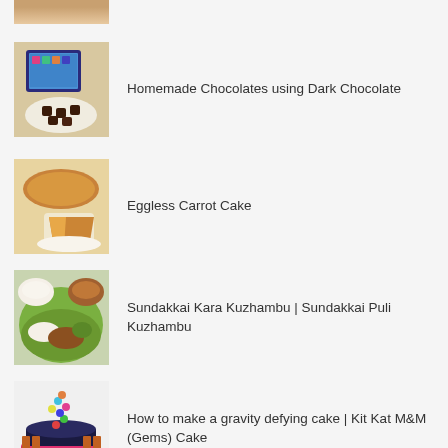[Figure (photo): Partial thumbnail of a baked good at top of page (cropped)]
Homemade Chocolates using Dark Chocolate
Eggless Carrot Cake
Sundakkai Kara Kuzhambu | Sundakkai Puli Kuzhambu
How to make a gravity defying cake | Kit Kat M&M (Gems) Cake